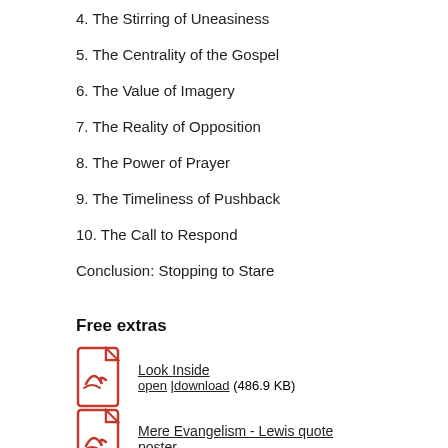4. The Stirring of Uneasiness
5. The Centrality of the Gospel
6. The Value of Imagery
7. The Reality of Opposition
8. The Power of Prayer
9. The Timeliness of Pushback
10. The Call to Respond
Conclusion: Stopping to Stare
Free extras
Look Inside
open | download (486.9 KB)
Mere Evangelism - Lewis quote poster